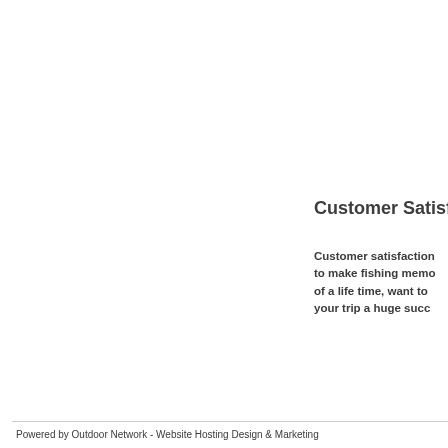Customer Satisfa…
Customer satisfaction to make fishing memo of a life time, want to your trip a huge succ…
Powered by Outdoor Network - Website Hosting Design & Marketing